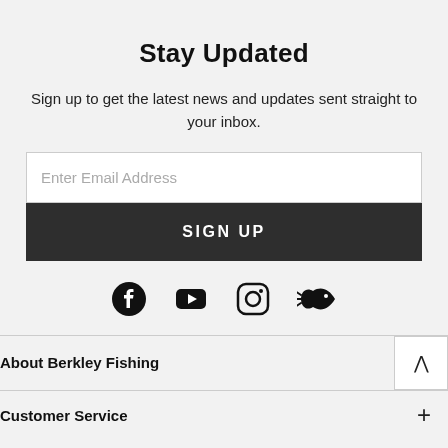Stay Updated
Sign up to get the latest news and updates sent straight to your inbox.
[Figure (other): Email address input field with placeholder text 'Enter Email Address']
[Figure (other): Dark 'SIGN UP' button]
[Figure (other): Social media icons row: Facebook, YouTube, Instagram, and a fish/fishing icon]
About Berkley Fishing
Customer Service